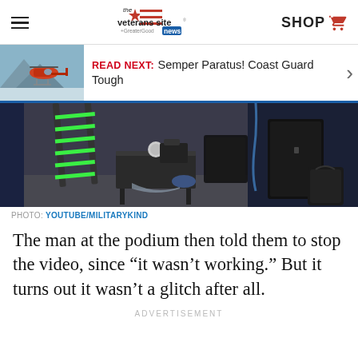the veterans site news | SHOP
[Figure (screenshot): Read Next banner with Coast Guard helicopter image and text: READ NEXT: Semper Paratus! Coast Guard Tough]
[Figure (photo): Indoor scene showing a podium/table area with equipment, a ladder with green stripes, and dark cases in a large room]
PHOTO: YOUTUBE/MILITARYKIND
The man at the podium then told them to stop the video, since “it wasn’t working.” But it turns out it wasn’t a glitch after all.
ADVERTISEMENT